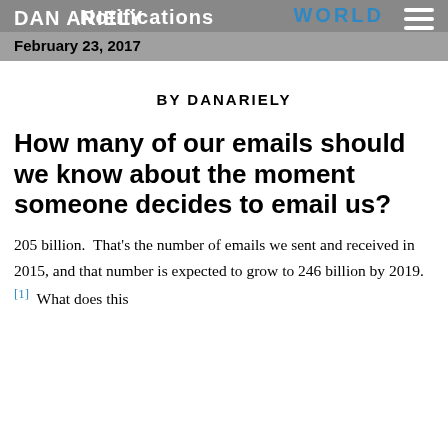WORLD | DAN ARIELY | Notifications | February 23, 2017
BY DANARIELY
How many of our emails should we know about the moment someone decides to email us?
205 billion.  That's the number of emails we sent and received in 2015, and that number is expected to grow to 246 billion by 2019.[1]  What does this